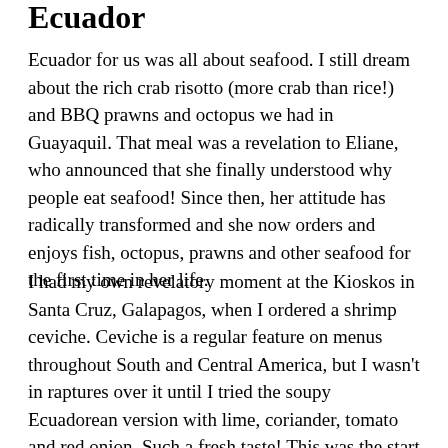Ecuador
Ecuador for us was all about seafood. I still dream about the rich crab risotto (more crab than rice!) and BBQ prawns and octopus we had in Guayaquil. That meal was a revelation to Eliane, who announced that she finally understood why people eat seafood! Since then, her attitude has radically transformed and she now orders and enjoys fish, octopus, prawns and other seafood for the first time in her life.
I had my own revelatory moment at the Kioskos in Santa Cruz, Galapagos, when I ordered a shrimp ceviche. Ceviche is a regular feature on menus throughout South and Central America, but I wasn't in raptures over it until I tried the soupy Ecuadorean version with lime, coriander, tomato and red onion. Such a fresh taste! This was the start of an side...